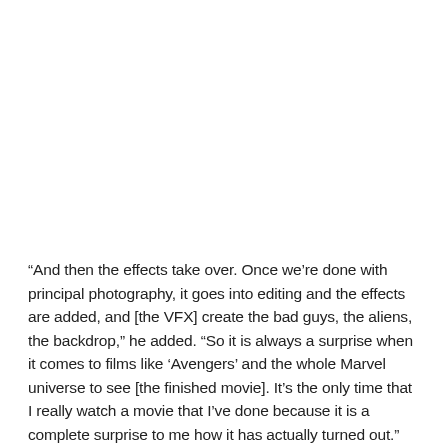“And then the effects take over. Once we’re done with principal photography, it goes into editing and the effects are added, and [the VFX] create the bad guys, the aliens, the backdrop,” he added. “So it is always a surprise when it comes to films like ‘Avengers’ and the whole Marvel universe to see [the finished movie]. It’s the only time that I really watch a movie that I’ve done because it is a complete surprise to me how it has actually turned out.”